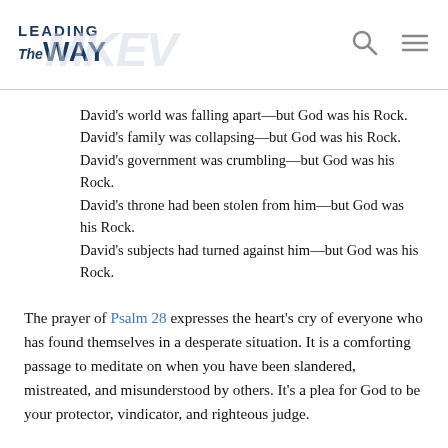[Figure (logo): Leading The Way logo with watermark in header]
David's world was falling apart—but God was his Rock.
David's family was collapsing—but God was his Rock.
David's government was crumbling—but God was his Rock.
David's throne had been stolen from him—but God was his Rock.
David's subjects had turned against him—but God was his Rock.
The prayer of Psalm 28 expresses the heart's cry of everyone who has found themselves in a desperate situation. It is a comforting passage to meditate on when you have been slandered, mistreated, and misunderstood by others. It's a plea for God to be your protector, vindicator, and righteous judge.